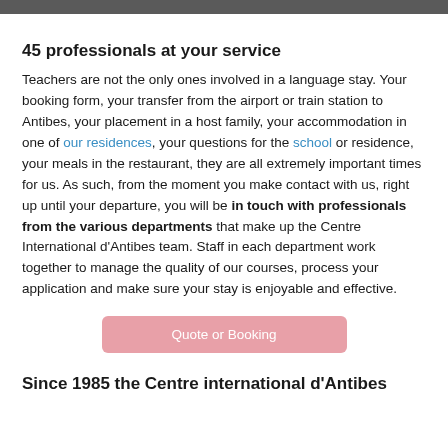45 professionals at your service
Teachers are not the only ones involved in a language stay. Your booking form, your transfer from the airport or train station to Antibes, your placement in a host family, your accommodation in one of our residences, your questions for the school or residence, your meals in the restaurant, they are all extremely important times for us. As such, from the moment you make contact with us, right up until your departure, you will be in touch with professionals from the various departments that make up the Centre International d'Antibes team. Staff in each department work together to manage the quality of our courses, process your application and make sure your stay is enjoyable and effective.
Quote or Booking
Since 1985 the Centre international d'Antibes